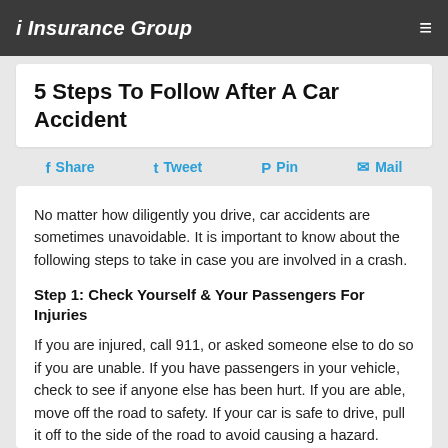i Insurance Group
5 Steps To Follow After A Car Accident
Share  Tweet  Pin  Mail
No matter how diligently you drive, car accidents are sometimes unavoidable. It is important to know about the following steps to take in case you are involved in a crash.
Step 1: Check Yourself & Your Passengers For Injuries
If you are injured, call 911, or asked someone else to do so if you are unable. If you have passengers in your vehicle, check to see if anyone else has been hurt. If you are able, move off the road to safety. If your car is safe to drive, pull it off to the side of the road to avoid causing a hazard.